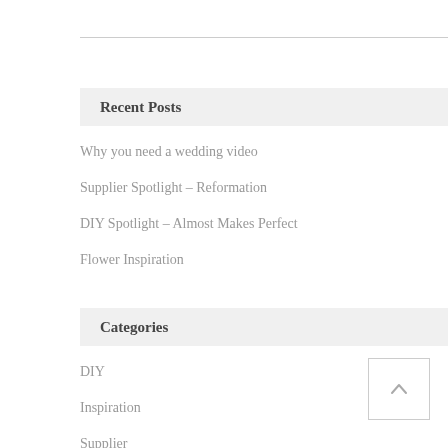Recent Posts
Why you need a wedding video
Supplier Spotlight – Reformation
DIY Spotlight – Almost Makes Perfect
Flower Inspiration
Categories
DIY
Inspiration
Supplier
Wedding Videography